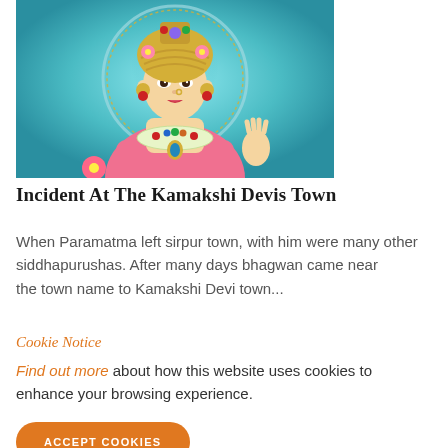[Figure (illustration): Illustration of Kamakshi Devi, a Hindu goddess, depicted with a golden crown/turban adorned with gems and flowers, a red bindi, jewelry, floral garlands, set against a teal/turquoise circular halo background. The figure wears pink garments and elaborate necklaces.]
Incident At The Kamakshi Devis Town
When Paramatma left sirpur town, with him were many other siddhapurushas. After many days bhagwan came near the town name to Kamakshi Devi town...
Cookie Notice
Find out more about how this website uses cookies to enhance your browsing experience.
ACCEPT COOKIES